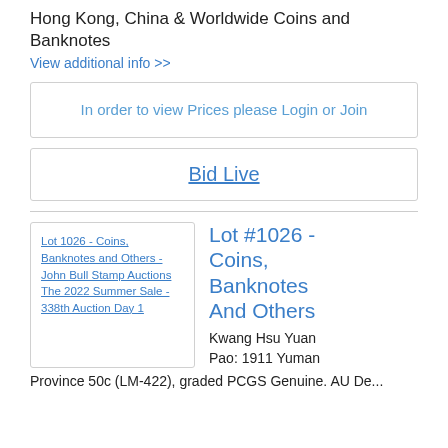Hong Kong, China & Worldwide Coins and Banknotes
View additional info >>
In order to view Prices please Login or Join
Bid Live
[Figure (other): Lot 1026 - Coins, Banknotes and Others - John Bull Stamp Auctions The 2022 Summer Sale - 338th Auction Day 1]
Lot #1026 - Coins, Banknotes And Others
Kwang Hsu Yuan Pao: 1911 Yuman Province 50c (LM-422), graded PCGS Genuine. AU De...